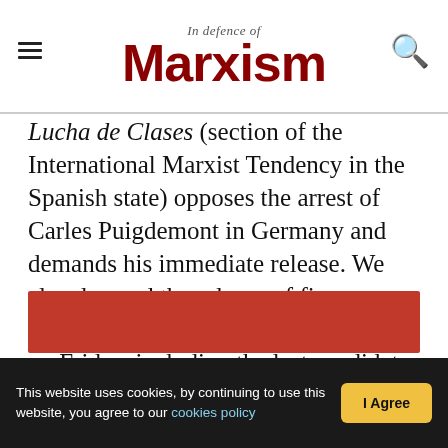In Defence of Marxism
Lucha de Clases (section of the International Marxist Tendency in the Spanish state) opposes the arrest of Carles Puigdemont in Germany and demands his immediate release. We also demand the release of five Catalan independence leaders arrested on Friday, including the last candidate for the presidency of the Generalitat, Jordi Turull; along with all Catalan political prisoners. Original statement in Spanish here.
[Figure (other): Red banner/image at bottom of article]
This website uses cookies, by continuing to use this website, you agree to our cookies policy  I Agree